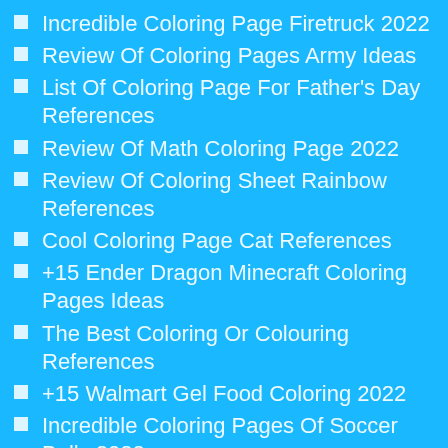Incredible Coloring Page Firetruck 2022
Review Of Coloring Pages Army Ideas
List Of Coloring Page For Father's Day References
Review Of Math Coloring Page 2022
Review Of Coloring Sheet Rainbow References
Cool Coloring Page Cat References
+15 Ender Dragon Minecraft Coloring Pages Ideas
The Best Coloring Or Colouring References
+15 Walmart Gel Food Coloring 2022
Incredible Coloring Pages Of Soccer Balls 2022
Review Of Printable Monster Trucks Coloring Pages Ideas
Awasome Coloring Pages Of Pirate Ships Ideas
Awasome Ballerinas Coloring Pages Ideas
+15 Food Coloring Mix Chart 2022
Famous Best Hair Coloring Salons Near Me 2022
Awasome Skulls Coloring Pages 2022